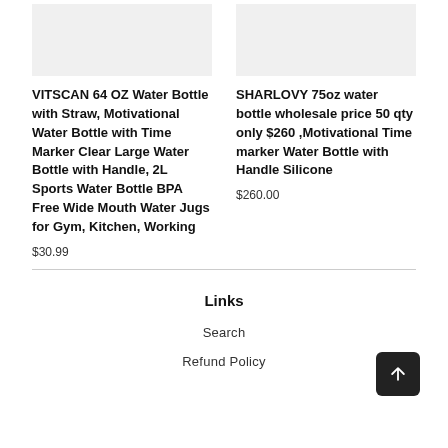[Figure (photo): Product image placeholder for VITSCAN water bottle]
VITSCAN 64 OZ Water Bottle with Straw, Motivational Water Bottle with Time Marker Clear Large Water Bottle with Handle, 2L Sports Water Bottle BPA Free Wide Mouth Water Jugs for Gym, Kitchen, Working
$30.99
[Figure (photo): Product image placeholder for SHARLOVY water bottle]
SHARLOVY 75oz water bottle wholesale price 50 qty only $260 ,Motivational Time marker Water Bottle with Handle Silicone
$260.00
Links
Search
Refund Policy